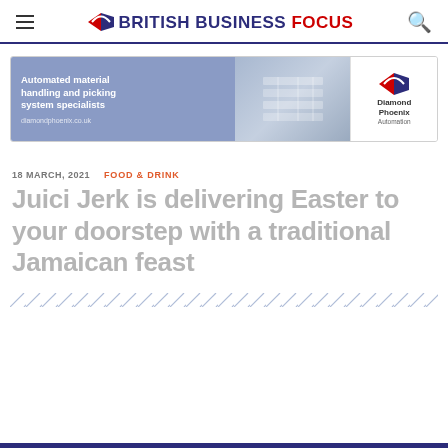BRITISH BUSINESS FOCUS
[Figure (illustration): Diamond Phoenix Automation advertisement banner showing automated material handling and picking system with conveyor belts in a warehouse setting. Text: Automated material handling and picking system specialists. diamondphoenix.co.uk]
18 MARCH, 2021   FOOD & DRINK
Juici Jerk is delivering Easter to your doorstep with a traditional Jamaican feast